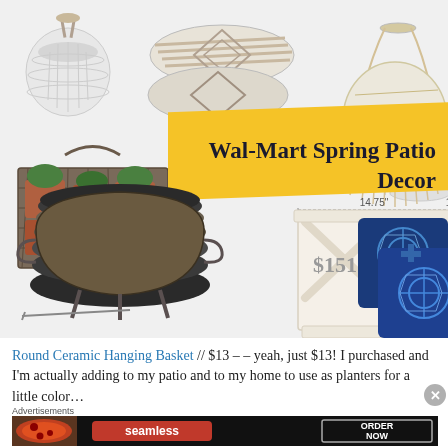[Figure (photo): Collage of Wal-Mart spring patio decor products: white ceramic hanging basket, striped throw pillows, white wire drum side table, macrame hanging chair, plant/pot caddy with terra cotta pots, fire pit with poker, white X-design planter box with dimensions 14.75" x 14.75" x 13" and price $151, blue patterned throw pillows. Yellow banner overlay reads 'Wal-Mart Spring Patio Decor'.]
Round Ceramic Hanging Basket // $13 – – yeah, just $13! I purchased and I'm actually adding to my patio and to my home to use as planters for a little color…
Advertisements
[Figure (photo): Seamless food delivery advertisement banner showing pizza image on left, red Seamless logo in center, and ORDER NOW button on right against dark background.]